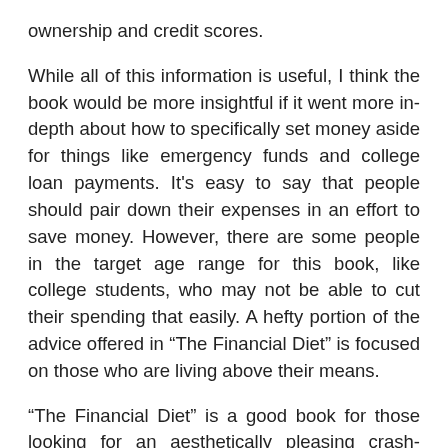ownership and credit scores.
While all of this information is useful, I think the book would be more insightful if it went more in-depth about how to specifically set money aside for things like emergency funds and college loan payments. It's easy to say that people should pair down their expenses in an effort to save money. However, there are some people in the target age range for this book, like college students, who may not be able to cut their spending that easily. A hefty portion of the advice offered in “The Financial Diet” is focused on those who are living above their means.
“The Financial Diet” is a good book for those looking for an aesthetically pleasing crash-course in financial responsibility. However, it shouldn’t be your only source of financial research.
Contact the author at journaleditor@wou.edu